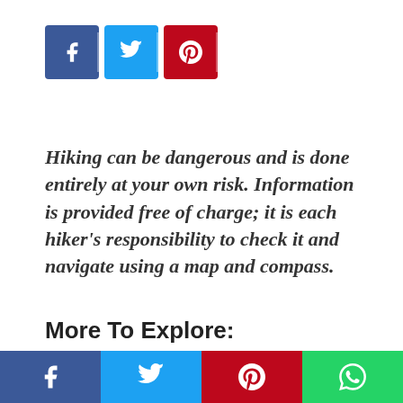[Figure (other): Social share buttons row: Facebook (blue), Twitter (light blue), Pinterest (red)]
Hiking can be dangerous and is done entirely at your own risk. Information is provided free of charge; it is each hiker's responsibility to check it and navigate using a map and compass.
More To Explore:
[Figure (other): Two blank thumbnail image placeholders side by side]
[Figure (other): Bottom social sharing bar with Facebook, Twitter, Pinterest, and WhatsApp buttons]